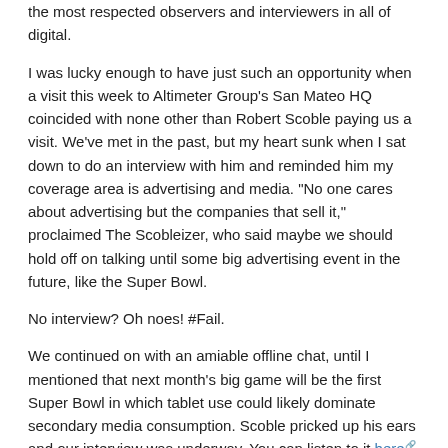the most respected observers and interviewers in all of digital.
I was lucky enough to have just such an opportunity when a visit this week to Altimeter Group's San Mateo HQ coincided with none other than Robert Scoble paying us a visit. We've met in the past, but my heart sunk when I sat down to do an interview with him and reminded him my coverage area is advertising and media. "No one cares about advertising but the companies that sell it," proclaimed The Scobleizer, who said maybe we should hold off on talking until some big advertising event in the future, like the Super Bowl.
No interview? Oh noes! #Fail.
We continued on with an amiable offline chat, until I mentioned that next month's big game will be the first Super Bowl in which tablet use could likely dominate secondary media consumption. Scoble pricked up his ears and our interview was underway. You can listen to it here.
II also recommend listening to his much longer and more in-depth four-part discussion with my Altimeter Group colleague Susan Etlinger.
Read more   Rebecca Lieb's blog   Add new comment
[Figure (photo): Circular avatar photo of a woman with brown/red hair, cropped to show head and shoulders, framed in a circle with blue border.]